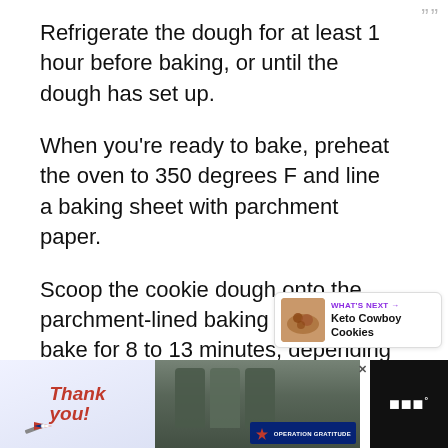Refrigerate the dough for at least 1 hour before baking, or until the dough has set up.
When you're ready to bake, preheat the oven to 350 degrees F and line a baking sheet with parchment paper.
Scoop the cookie dough onto the parchment-lined baking sheet, and bake for 8 to 13 minutes, depending on the size of your cookies. For regu sized cookies, go with 8 to 11, and for larger cookies, bake for 11 to 13.
[Figure (infographic): UI overlay with heart/favorite button (purple circle) and share button]
[Figure (infographic): What's Next callout box: Keto Cowboy Cookies with thumbnail image]
[Figure (photo): Advertisement banner at bottom: Thank you military appreciation ad with Operation Gratitude branding]